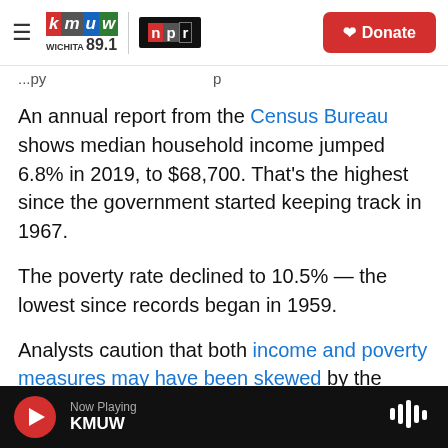KMUW Wichita 89.1 | NPR | Donate
An annual report from the Census Bureau shows median household income jumped 6.8% in 2019, to $68,700. That's the highest since the government started keeping track in 1967.
The poverty rate declined to 10.5% — the lowest since records began in 1959.
Analysts caution that both income and poverty measures may have been skewed by the challenges of conducting interviews during the pandemic. Fewer people completed the survey
Now Playing KMUW